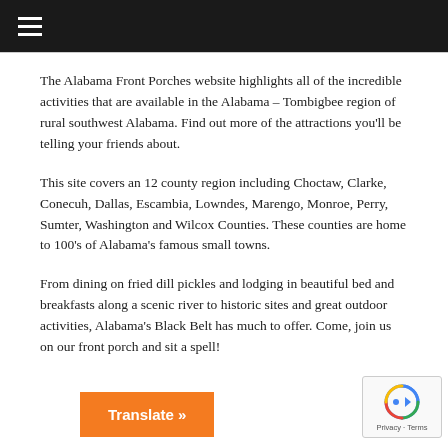≡ (hamburger menu)
The Alabama Front Porches website highlights all of the incredible activities that are available in the Alabama – Tombigbee region of rural southwest Alabama. Find out more of the attractions you'll be telling your friends about.
This site covers an 12 county region including Choctaw, Clarke, Conecuh, Dallas, Escambia, Lowndes, Marengo, Monroe, Perry, Sumter, Washington and Wilcox Counties. These counties are home to 100's of Alabama's famous small towns.
From dining on fried dill pickles and lodging in beautiful bed and breakfasts along a scenic river to historic sites and great outdoor activities, Alabama's Black Belt has much to offer. Come, join us on our front porch and sit a spell!
Translate »